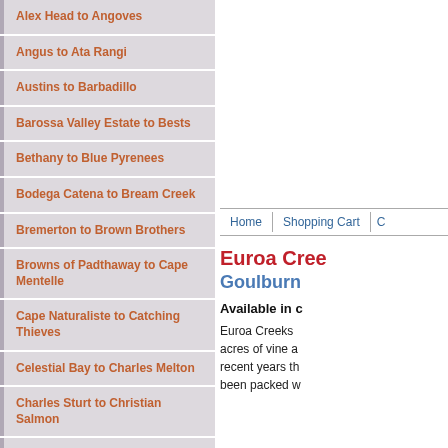Alex Head to Angoves
Angus to Ata Rangi
Austins to Barbadillo
Barossa Valley Estate to Bests
Bethany to Blue Pyrenees
Bodega Catena to Bream Creek
Bremerton to Brown Brothers
Browns of Padthaway to Cape Mentelle
Cape Naturaliste to Catching Thieves
Celestial Bay to Charles Melton
Charles Sturt to Christian Salmon
Clairault to Collector Wines
Compagnie Francaise Grands Vins to Crittenden
Croser to Dandelion
dArenberg to Deutz Marlborough
Devils Lair to Domecq Bodegas
Dominique Portet to Egon Muller
Elderton to Fattorie Zerbina
Home | Shopping Cart | C
Euroa Cree
Goulburn
Available in c
Euroa Creeks acres of vine a recent years th been packed w